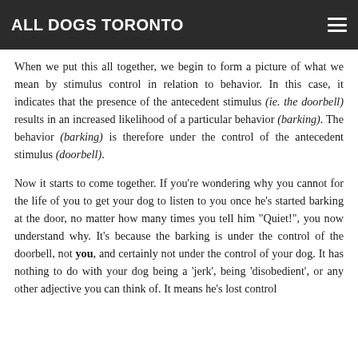ALL DOGS TORONTO
When we put this all together, we begin to form a picture of what we mean by stimulus control in relation to behavior. In this case, it indicates that the presence of the antecedent stimulus (ie. the doorbell) results in an increased likelihood of a particular behavior (barking). The behavior (barking) is therefore under the control of the antecedent stimulus (doorbell).
Now it starts to come together. If you're wondering why you cannot for the life of you to get your dog to listen to you once he's started barking at the door, no matter how many times you tell him "Quiet!", you now understand why. It's because the barking is under the control of the doorbell, not you, and certainly not under the control of your dog. It has nothing to do with your dog being a 'jerk', being 'disobedient', or any other adjective you can think of. It means he's lost control